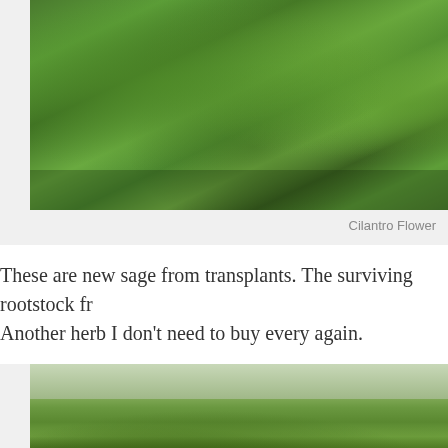[Figure (photo): Close-up photo of herb garden with cilantro and dill plants growing densely with dark soil visible]
Cilantro Flower
These are new sage from transplants. The surviving rootstock fr... Another herb I don't need to buy every again.
[Figure (photo): Wide field view of a large herb/vegetable garden with lush green plants and a tree line visible in the background under overcast sky]